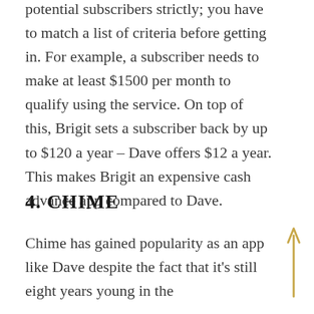potential subscribers strictly; you have to match a list of criteria before getting in. For example, a subscriber needs to make at least $1500 per month to qualify using the service. On top of this, Brigit sets a subscriber back by up to $120 a year – Dave offers $12 a year. This makes Brigit an expensive cash advance app compared to Dave.
4. CHIME
Chime has gained popularity as an app like Dave despite the fact that it's still eight years young in the